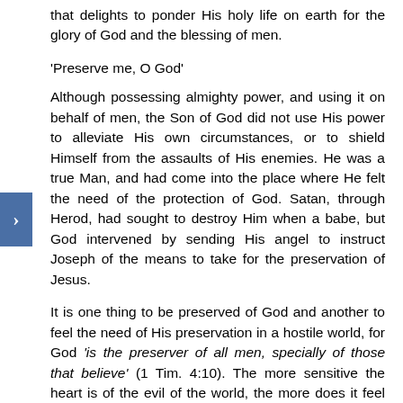that delights to ponder His holy life on earth for the glory of God and the blessing of men.
'Preserve me, O God'
Although possessing almighty power, and using it on behalf of men, the Son of God did not use His power to alleviate His own circumstances, or to shield Himself from the assaults of His enemies. He was a true Man, and had come into the place where He felt the need of the protection of God. Satan, through Herod, had sought to destroy Him when a babe, but God intervened by sending His angel to instruct Joseph of the means to take for the preservation of Jesus.
It is one thing to be preserved of God and another to feel the need of His preservation in a hostile world, for God 'is the preserver of all men, specially of those that believe' (1 Tim. 4:10). The more sensitive the heart is of the evil of the world, the more does it feel the need of God's preservation. With infinitely sensitive feelings, and knowing that all the forces of evil were bent upon His destruction, is it any wonder that the Spirit of Christ said,